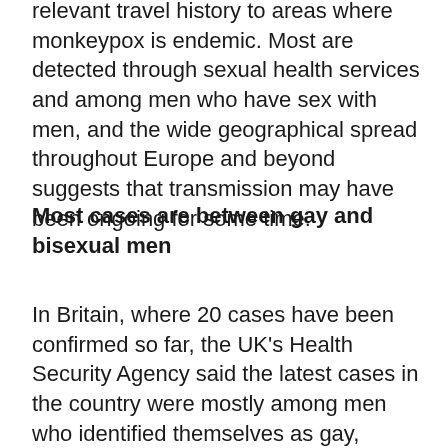relevant travel history to areas where monkeypox is endemic. Most are detected through sexual health services and among men who have sex with men, and the wide geographical spread throughout Europe and beyond suggests that transmission may have been ongoing for some time.
Most cases are between gay and bisexual men
In Britain, where 20 cases have been confirmed so far, the UK's Health Security Agency said the latest cases in the country were mostly among men who identified themselves as gay, bisexual or men who have sex with men.